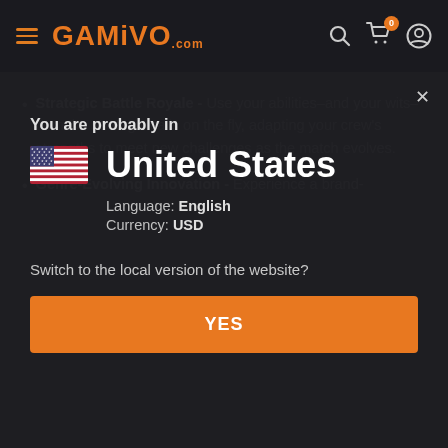[Figure (logo): GAMIVO.com logo in orange with hamburger menu icon on the left and search, cart, and profile icons on the right]
Strategic Battle Royale - Use your abilities–and your wits–to make strategic calls on the fly, adapting your crew's strengths to meet new challenges as the match evolves.
Genre-Evolving Innovation - Experience a brand-
You are probably in
United States
Language: English
Currency: USD
Switch to the local version of the website?
YES